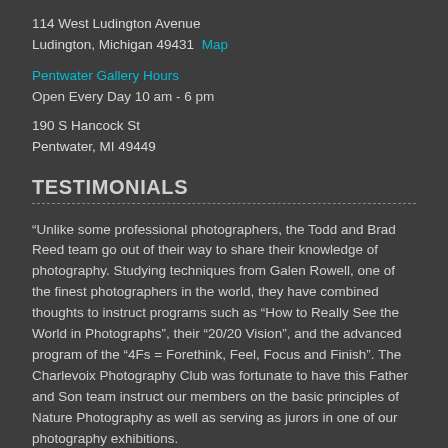114 West Ludington Avenue
Ludington, Michigan 49431 Map
Pentwater Gallery Hours
Open Every Day 10 am - 6 pm
190 S Hancock St
Pentwater, MI 49449
TESTIMONIALS
“Unlike some professional photographers, the Todd and Brad Reed team go out of their way to share their knowledge of photography. Studying techniques from Galen Rowell, one of the finest photographers in the world, they have combined thoughts to instruct programs such as “How to Really See the World in Photographs”, their “20/20 Vision”, and the advanced program of the “4Fs = Forethink, Feel, Focus and Finish”. The Charlevoix Photography Club was fortunate to have this Father and Son team instruct our members on the basic principles of Nature Photography as well as serving as jurors in one of our photography exhibitions.